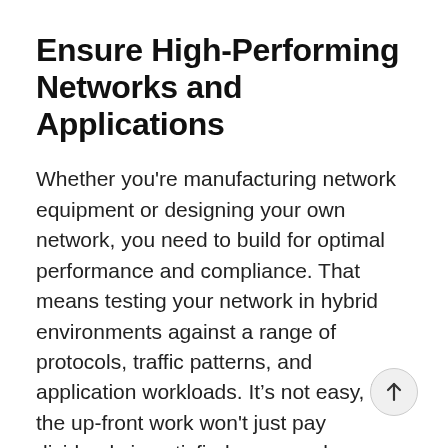Ensure High-Performing Networks and Applications
Whether you're manufacturing network equipment or designing your own network, you need to build for optimal performance and compliance. That means testing your network in hybrid environments against a range of protocols, traffic patterns, and application workloads. It’s not easy, but the up-front work won't just pay dividends in satisfied users and proven performance; it's more cost effective as well. After all, bugs found before deployment are 90–100 times